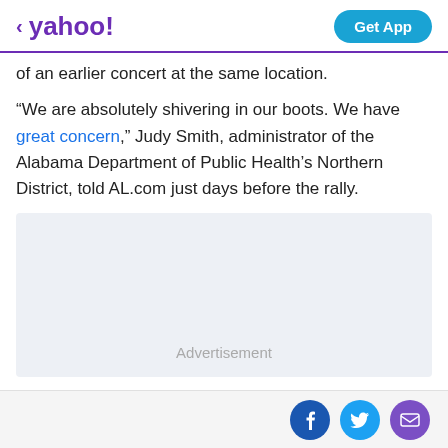< yahoo! | Get App
of an earlier concert at the same location.
“We are absolutely shivering in our boots. We have great concern,” Judy Smith, administrator of the Alabama Department of Public Health’s Northern District, told AL.com just days before the rally.
[Figure (other): Advertisement placeholder box]
Social sharing icons: Facebook, Twitter, Email